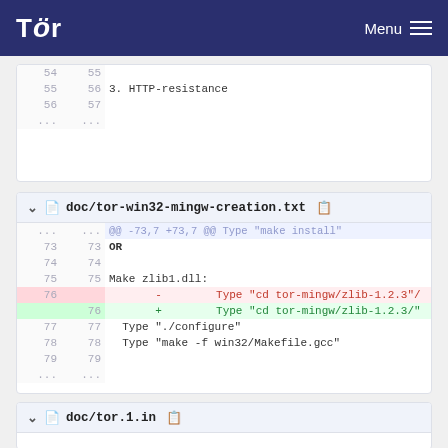Tor  Menu
| old ln | new ln | code |
| --- | --- | --- |
| 54 | 55 |  |
| 55 | 56 | 3. HTTP-resistance |
| 56 | 57 |  |
| ... | ... |  |
doc/tor-win32-mingw-creation.txt
| old ln | new ln | code |
| --- | --- | --- |
| ... | ... | @@ -73,7 +73,7 @@ Type "make install" |
| 73 | 73 | OR |
| 74 | 74 |  |
| 75 | 75 | Make zlib1.dll: |
| 76 |  | - Type "cd tor-mingw/zlib-1.2.3"/ |
|  | 76 | + Type "cd tor-mingw/zlib-1.2.3/" |
| 77 | 77 | Type "./configure" |
| 78 | 78 | Type "make -f win32/Makefile.gcc" |
| 79 | 79 |  |
| ... | ... |  |
doc/tor.1.in